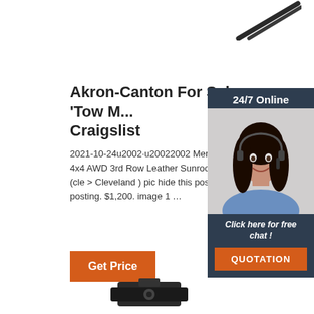[Figure (illustration): Dark tweezers/tool angled diagonally at top right of page]
Akron-Canton For Sale 'Tow M... Craigslist
2021-10-24u2002·u20022002 Mercury Mounta... 4x4 AWD 3rd Row Leather Sunroof Loaded 4. (cle > Cleveland ) pic hide this posting restore posting. $1,200. image 1 …
[Figure (illustration): Customer service representative woman with headset - 24/7 Online chat widget with orange QUOTATION button]
Get Price
[Figure (illustration): Dark tool/wrench at bottom center of page]